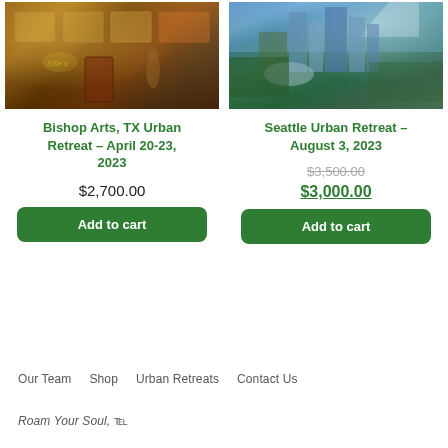[Figure (photo): Storefront photo of a restaurant/cafe (Ellie's) with large windows, brick facade, and a person walking by]
[Figure (photo): Aerial cityscape photo of Seattle with skyscrapers, green trees, and a dome building, with a mountain in the background]
Bishop Arts, TX Urban Retreat – April 20-23, 2023
$2,700.00
Add to cart
Seattle Urban Retreat – August 3, 2023
$3,500.00
$3,000.00
Add to cart
Our Team   Shop   Urban Retreats   Contact Us
Roam Your Soul, ℗